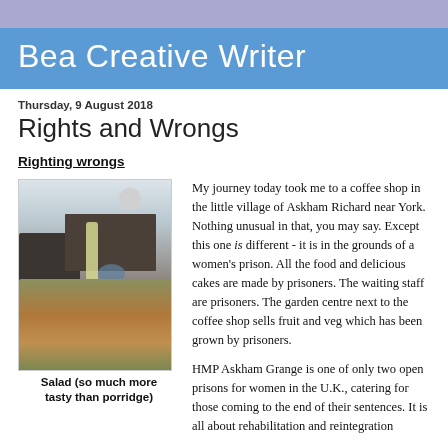Bea Creative Writer
Thursday, 9 August 2018
Rights and Wrongs
Righting wrongs
[Figure (photo): Interior of a coffee shop with dark furniture, a bottle of juice, a bowl, and a salad dish in the foreground]
Salad (so much more tasty than porridge)
My journey today took me to a coffee shop in the little village of Askham Richard near York. Nothing unusual in that, you may say. Except this one is different - it is in the grounds of a women's prison. All the food and delicious cakes are made by prisoners. The waiting staff are prisoners. The garden centre next to the coffee shop sells fruit and veg which has been grown by prisoners.

HMP Askham Grange is one of only two open prisons for women in the U.K., catering for those coming to the end of their sentences. It is all about rehabilitation and reintegration